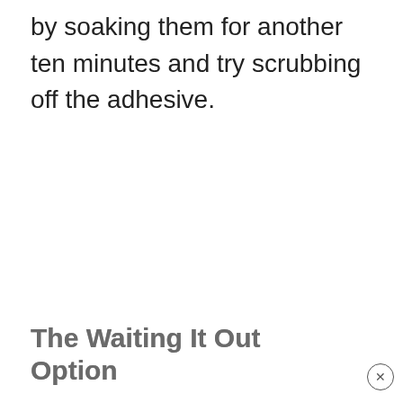by soaking them for another ten minutes and try scrubbing off the adhesive.
The Waiting It Out Option